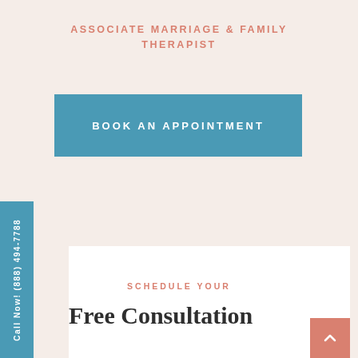ASSOCIATE MARRIAGE & FAMILY THERAPIST
BOOK AN APPOINTMENT
Call Now! (888) 494-7788
SCHEDULE YOUR
Free Consultation